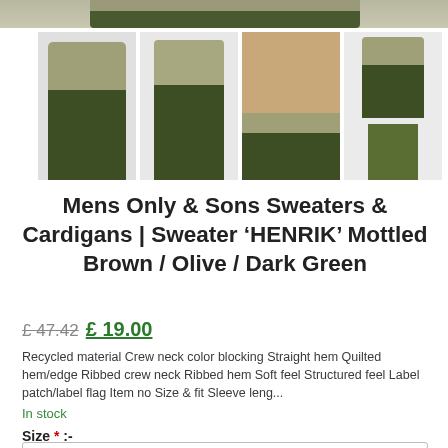[Figure (photo): Top partial product image strip showing a colorblock sweater in mottled brown/olive/dark green]
[Figure (photo): Four thumbnail product images of a men's colorblock crew neck sweater in mottled brown/olive/dark green. Images show front view, back view, close-up face/shoulder, and full body side view of male model.]
Mens Only & Sons Sweaters & Cardigans | Sweater ‘HENRIK’ Mottled Brown / Olive / Dark Green
£ 47.42 £ 19.00
Recycled material Crew neck color blocking Straight hem Quilted hem/edge Ribbed crew neck Ribbed hem Soft feel Structured feel Label patch/label flag Item no Size & fit Sleeve leng...
In stock
Size * :-